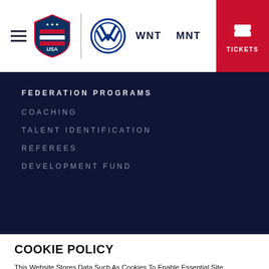USA Soccer navigation header with hamburger menu, USA logo, VW logo, WNT, MNT links, and TICKETS button
FEDERATION PROGRAMS
COACHING
TALENT IDENTIFICATION
REFEREES
DEVELOPMENT FUND
COOKIE POLICY
This Website Stores Data Such As Cookies To Enable Essential Site Functionality, As Well As Marketing, Personalization, And Analytics. FIND OUT MORE.
ACCEPT
DENY